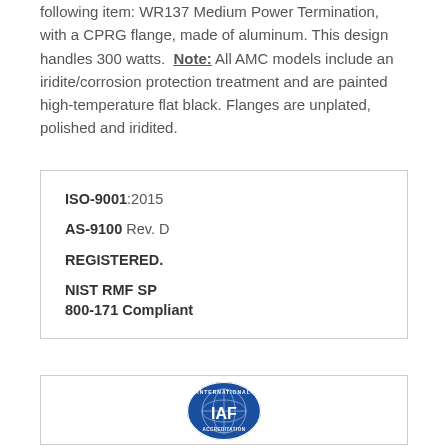following item: WR137 Medium Power Termination, with a CPRG flange, made of aluminum. This design handles 300 watts. Note: All AMC models include an iridite/corrosion protection treatment and are painted high-temperature flat black. Flanges are unplated, polished and iridited.
ISO-9001:2015
AS-9100 Rev. D
REGISTERED.
NIST RMF SP
800-171 Compliant
[Figure (logo): IAF International Accreditation Forum logo — circular blue badge with globe graphic and 'IAF' text]